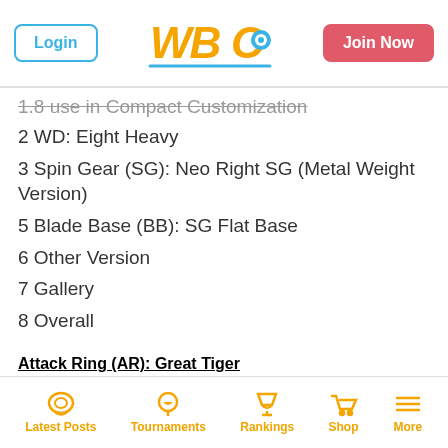Login | WBO Logo | Join Now
1.8 use in Compact Customization (truncated/struck)
2 WD: Eight Heavy
3 Spin Gear (SG): Neo Right SG (Metal Weight Version)
5 Blade Base (BB): SG Flat Base
6 Other Version
7 Gallery
8 Overall
Attack Ring (AR): Great Tiger
Weight: 6 grams
Great Tiger depics two symmetrical lions. This AR is the same of Galeon Attacker: War Lion. However, differently from War Lion, Great Tiger own wings as S-AR. Great Tiger is the prized part of this Beyblade. This AR has both great
Latest Posts | Tournaments | Rankings | Shop | More